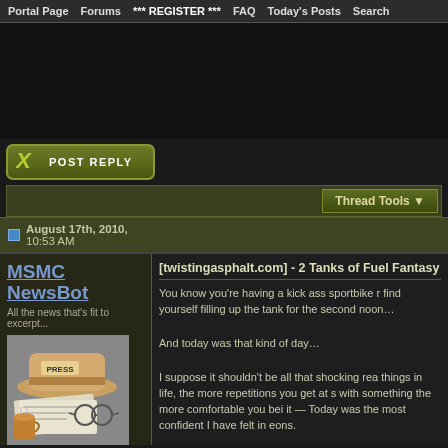Portal Page  Forums  *** REGISTER ***  FAQ  Today's Posts  Search
[Figure (other): Advertisement banner area (dark/blank)]
[Figure (other): Post Reply button with X logo and olive green styling]
Thread Tools
August 17th, 2010, 10:53 AM
MSMC NewsBot
All the news that's fit to excerpt...
[Figure (photo): Illustration of a press hat, newspapers, glasses, and a coffee mug]
[twistingasphalt.com] - 2 Tanks of Fuel Fantasy
You know you're having a kick ass sportbike r find yourself filling up the tank for the second noon…
And today was that kind of day…
I suppose it shouldn't be all that shocking rea things in life, the more repetitions you get at s with something the more comfortable you bei it — Today was the most confident I have felt in eons.